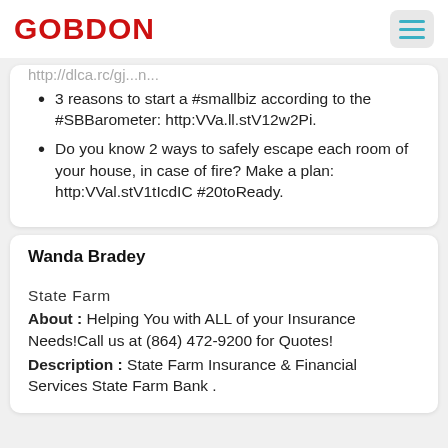GOBDON
http://dlca.rc/gj...n...
3 reasons to start a #smallbiz according to the #SBBarometer: http:\\a.ll.stV12w2Pi.
Do you know 2 ways to safely escape each room of your house, in case of fire? Make a plan: http:\\Val.stV1tIcdIC #20toReady.
Wanda Bradey
State Farm
About : Helping You with ALL of your Insurance Needs!Call us at (864) 472-9200 for Quotes!
Description : State Farm Insurance & Financial Services State Farm Bank .